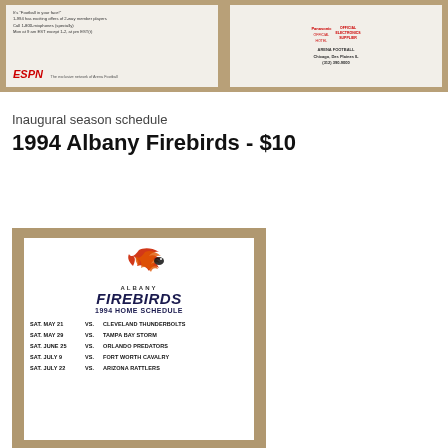[Figure (photo): Two photos side by side: left shows ESPN arena football card back with text and logo; right shows Panasonic official electronics supplier arena football card with hotel and Chicago contact info]
Inaugural season schedule
1994 Albany Firebirds - $10
[Figure (photo): Photo of 1994 Albany Firebirds home schedule card showing logo with flame bird, ALBANY FIREBIRDS 1994 HOME SCHEDULE, listing games: SAT. MAY 21 VS. CLEVELAND THUNDERBOLTS, SAT. MAY 29 VS. TAMPA BAY STORM, SAT. JUNE 25 VS. ORLANDO PREDATORS, SAT. JULY 9 VS. FORT WORTH CAVALRY, SAT. JULY 22 VS. ARIZONA RATTLERS]